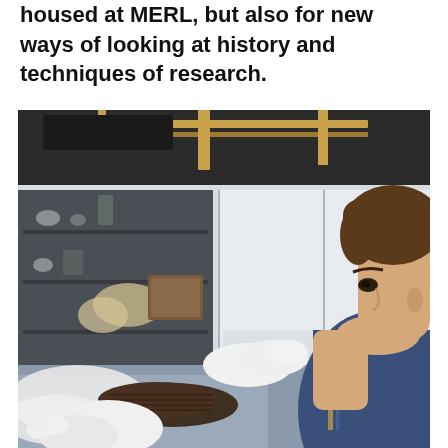housed at MERL, but also for new ways of looking at history and techniques of research.
[Figure (photo): A teenage boy wearing white cotton gloves examines a dark woven or leather artifact (possibly a basket or hat) in what appears to be a museum storage or study room. Shelves with objects and storage units are visible in the background.]